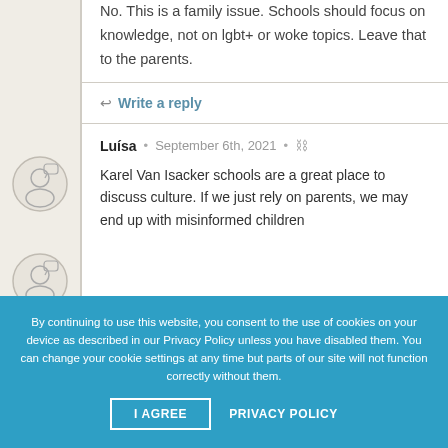No. This is a family issue. Schools should focus on knowledge, not on lgbt+ or woke topics. Leave that to the parents.
Write a reply
Luísa • September 6th, 2021 •
Karel Van Isacker schools are a great place to discuss culture. If we just rely on parents, we may end up with misinformed children
By continuing to use this website, you consent to the use of cookies on your device as described in our Privacy Policy unless you have disabled them. You can change your cookie settings at any time but parts of our site will not function correctly without them.
I AGREE
PRIVACY POLICY